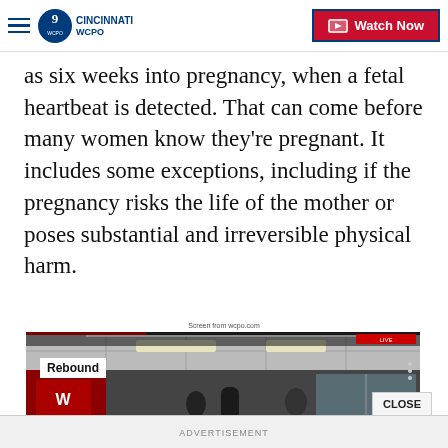WCPO 9 CINCINNATI — Watch Now
as six weeks into pregnancy, when a fetal heartbeat is detected. That can come before many women know they're pregnant. It includes some exceptions, including if the pregnancy risks the life of the mother or poses substantial and irreversible physical harm.
Screen from wcpo.com
[Figure (screenshot): WCPO video player screenshot showing a gym/boxing gym interior with the label 'Rebound' in the upper left corner and three vertical dots in the upper right. A 'CLOSE' button appears at lower right.]
ADVERTISEMENT